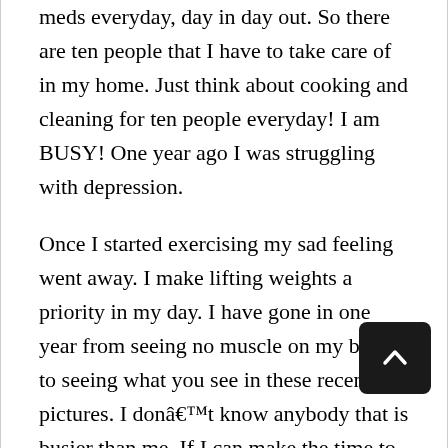meds everyday, day in day out. So there are ten people that I have to take care of in my home. Just think about cooking and cleaning for ten people everyday! I am BUSY! One year ago I was struggling with depression.
Once I started exercising my sad feeling went away. I make lifting weights a priority in my day. I have gone in one year from seeing no muscle on my body to seeing what you see in these recent pictures. I don’t know anybody that is busier than me. If I can make the time to dedicate to working out about an hour a day anyone can.
I have gone from feeling fat, ugly and lazy, to feeling muscular, pretty, and on top of the world and that stems from lifting weights and creating some